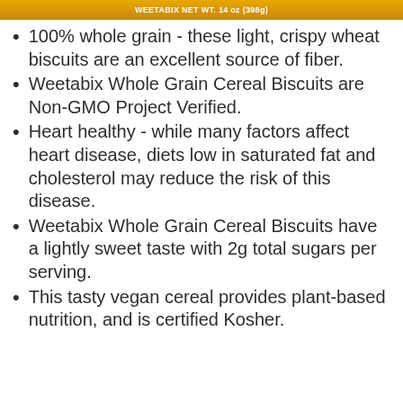[Figure (photo): Partial product image of Weetabix Whole Grain Cereal Biscuits box, showing golden/yellow packaging banner]
100% whole grain - these light, crispy wheat biscuits are an excellent source of fiber.
Weetabix Whole Grain Cereal Biscuits are Non-GMO Project Verified.
Heart healthy - while many factors affect heart disease, diets low in saturated fat and cholesterol may reduce the risk of this disease.
Weetabix Whole Grain Cereal Biscuits have a lightly sweet taste with 2g total sugars per serving.
This tasty vegan cereal provides plant-based nutrition, and is certified Kosher.